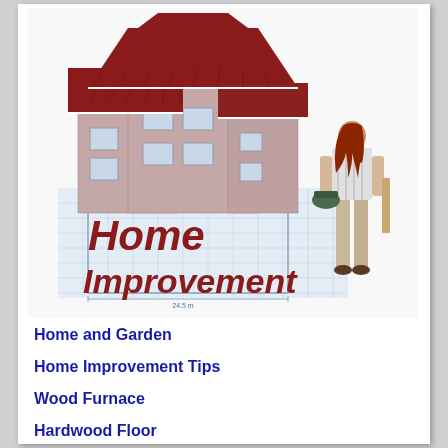[Figure (illustration): Book or ebook cover for 'Home Improvement' showing a 3D rendered house with red tile roof sitting on architectural blueprints, and a woman with red hair viewed from behind holding a hard hat and standing next to the house. Large bold dark red text reads 'Home Improvement'.]
Home and Garden
Home Improvement Tips
Wood Furnace
Hardwood Floor